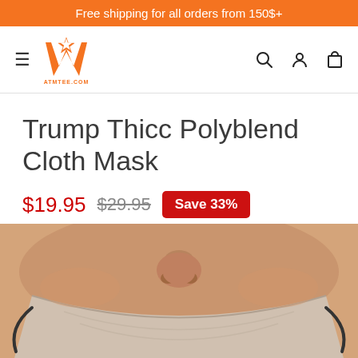Free shipping for all orders from 150$+
[Figure (logo): ATMTee.com orange logo with stylized W and star, with site name below]
Trump Thicc Polyblend Cloth Mask
$19.95  $29.95  Save 33%
[Figure (photo): Close-up photo of a face mask worn on a person's face showing nose and cheeks]